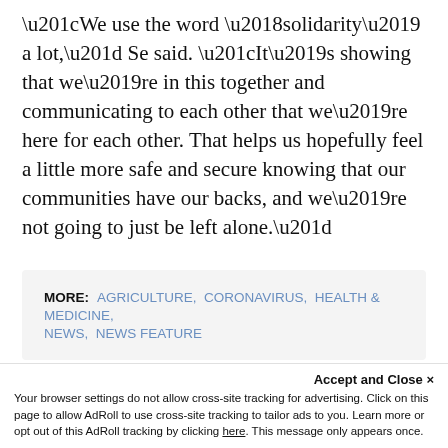“We use the word ‘solidarity’ a lot,” Se said. “It’s showing that we’re in this together and communicating to each other that we’re here for each other. That helps us hopefully feel a little more safe and secure knowing that our communities have our backs, and we’re not going to just be left alone.”
MORE: AGRICULTURE, CORONAVIRUS, HEALTH & MEDICINE, NEWS, NEWS FEATURE
YOU MAY ALSO LIKE:
Accept and Close ×
Your browser settings do not allow cross-site tracking for advertising. Click on this page to allow AdRoll to use cross-site tracking to tailor ads to you. Learn more or opt out of this AdRoll tracking by clicking here. This message only appears once.